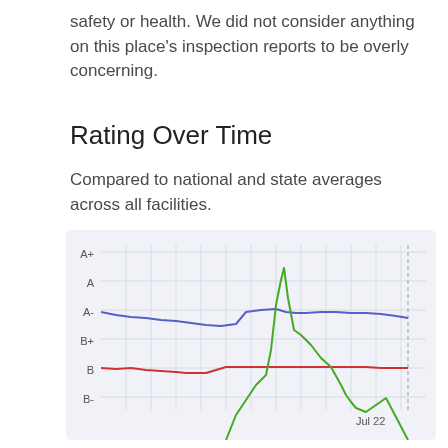safety or health. We did not consider anything on this place's inspection reports to be overly concerning.
Rating Over Time
Compared to national and state averages across all facilities.
[Figure (line-chart): Line chart showing rating over time compared to national and state averages. Blue line around A- level. Red line around B level. Green line spikes up from B- to A- around mid-chart then drops back. Dashed vertical line near right edge labeled Jul 22. Y-axis labels: A+, A, A-, B+, B, B-.]